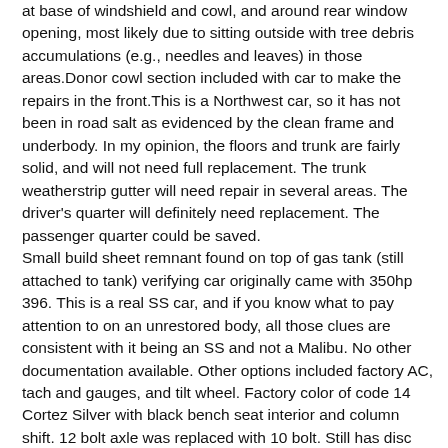at base of windshield and cowl, and around rear window opening, most likely due to sitting outside with tree debris accumulations (e.g., needles and leaves) in those areas.Donor cowl section included with car to make the repairs in the front.This is a Northwest car, so it has not been in road salt as evidenced by the clean frame and underbody. In my opinion, the floors and trunk are fairly solid, and will not need full replacement. The trunk weatherstrip gutter will need repair in several areas. The driver's quarter will definitely need replacement. The passenger quarter could be saved.
Small build sheet remnant found on top of gas tank (still attached to tank) verifying car originally came with 350hp 396. This is a real SS car, and if you know what to pay attention to on an unrestored body, all those clues are consistent with it being an SS and not a Malibu. No other documentation available. Other options included factory AC, tach and gauges, and tilt wheel. Factory color of code 14 Cortez Silver with black bench seat interior and column shift. 12 bolt axle was replaced with 10 bolt. Still has disc brakes on front, less calipers. Dash housing is out of a 1972 model and was installed by me since car had no dash. Car has all working locks with keys. No wiring included with car. Clear Washington title in the name of a previous owner, signed off and undated by that previous owner. I purchased this car 7 years